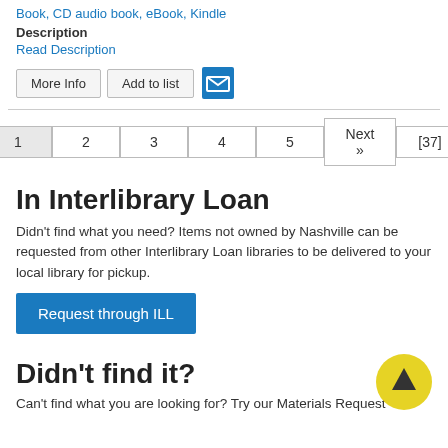Book, CD audio book, eBook, Kindle
Description
Read Description
More Info | Add to list | [email icon]
1  2  3  4  5  Next »  [37]
In Interlibrary Loan
Didn't find what you need? Items not owned by Nashville can be requested from other Interlibrary Loan libraries to be delivered to your local library for pickup.
Request through ILL
Didn't find it?
Can't find what you are looking for? Try our Materials Request